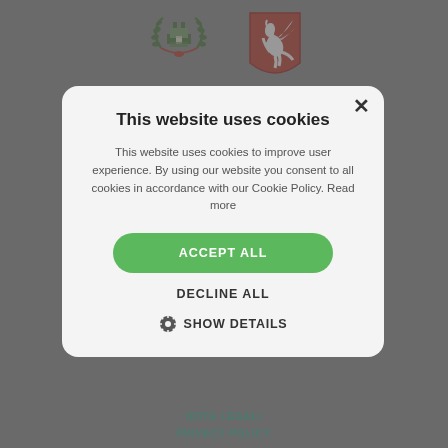[Figure (illustration): Two heraldic coat of arms logos at top center: left is green wreath with building motif, right is red shield with rearing horse (Tuscany pegasus).]
This website uses cookies
This website uses cookies to improve user experience. By using our website you consent to all cookies in accordance with our Cookie Policy. Read more
ACCEPT ALL
DECLINE ALL
SHOW DETAILS
NOTE LEGALI
PRIVACY POLICY